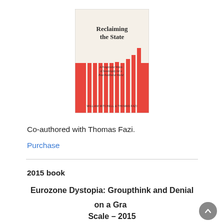[Figure (illustration): Book cover of 'Reclaiming the State: A Progressive Vision of Sovereignty for a Post-Neoliberal World' by William Mitchell & Thomas Fazi. Cream background with red bar-chart graphic and title text.]
Co-authored with Thomas Fazi.
Purchase
2015 book
Eurozone Dystopia: Groupthink and Denial on a Grand Scale – 2015